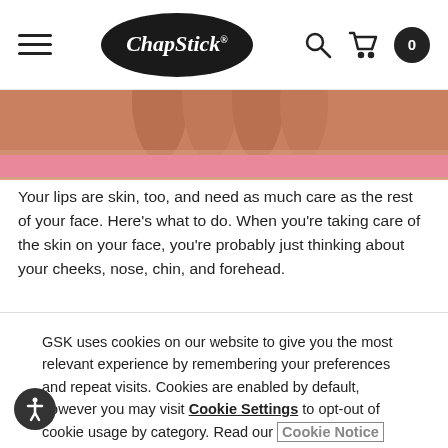[Figure (screenshot): ChapStick website header navigation bar with hamburger menu icon, ChapStick logo (lips shape), search icon, cart icon, and cart count badge showing 0]
[Figure (photo): Close-up cropped image of a person's hand/fingers against a pink banner background]
Your lips are skin, too, and need as much care as the rest of your face. Here's what to do. When you're taking care of the skin on your face, you're probably just thinking about your cheeks, nose, chin, and forehead.
GSK uses cookies on our website to give you the most relevant experience by remembering your preferences and repeat visits. Cookies are enabled by default, however you may visit Cookie Settings to opt-out of cookie usage by category. Read our Cookie Notice
[Figure (screenshot): DISMISS button — dark rounded rectangle button with white bold text reading DISMISS]